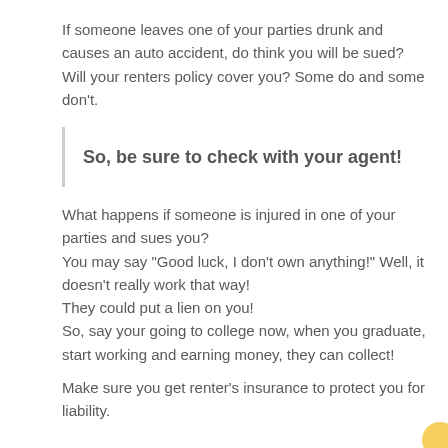If someone leaves one of your parties drunk and causes an auto accident, do think you will be sued?
Will your renters policy cover you? Some do and some don't.
So, be sure to check with your agent!
What happens if someone is injured in one of your parties and sues you?
You may say "Good luck, I don't own anything!" Well, it doesn't really work that way!
They could put a lien on you!
So, say your going to college now, when you graduate, start working and earning money, they can collect!
Make sure you get renter's insurance to protect you for liability.